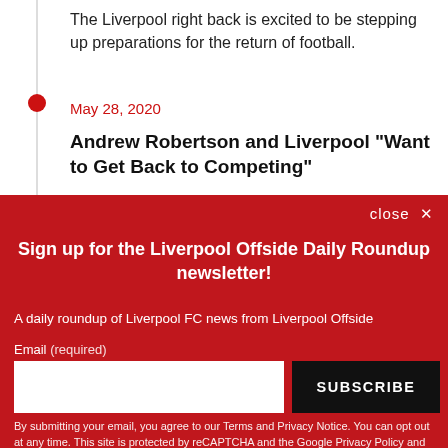The Liverpool right back is excited to be stepping up preparations for the return of football.
May 28, 2020
Andrew Robertson and Liverpool “Want to Get Back to Competing”
close ×
Sign up for the Liverpool Offside Daily Roundup newsletter!
A daily roundup of Liverpool FC news from Liverpool Offside
Email (required)
SUBSCRIBE
By submitting your email, you agree to our Terms and Privacy Notice. You can opt out at any time. This site is protected by reCAPTCHA and the Google Privacy Policy and Terms of Service apply.